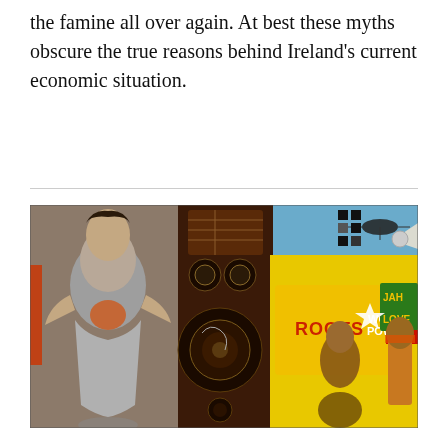the famine all over again. At best these myths obscure the true reasons behind Ireland's current economic situation.
[Figure (photo): Colorful street art / graffiti mural depicting stylized human figures, speakers/sound system equipment, and text reading 'ROOTS', 'WORD POWER', 'JAH LOVE' on a yellow and blue background.]